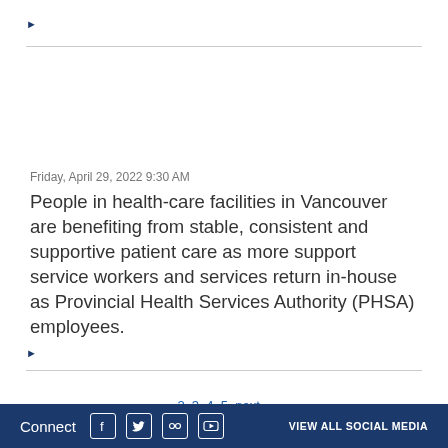▶
Friday, April 29, 2022 9:30 AM
People in health-care facilities in Vancouver are benefiting from stable, consistent and supportive patient care as more support service workers and services return in-house as Provincial Health Services Authority (PHSA) employees.
▶
2  3  4  5  next »
Connect  VIEW ALL SOCIAL MEDIA